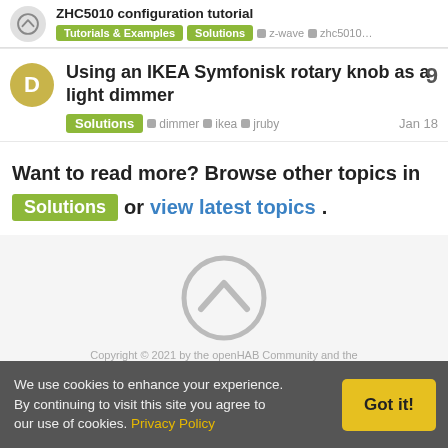ZHC5010 configuration tutorial — Tutorials & Examples | Solutions | z-wave | zhc5010...
Using an IKEA Symfonisk rotary knob as a light dimmer
9  Solutions  dimmer  ikea  jruby  Jan 18
Want to read more? Browse other topics in Solutions or view latest topics.
[Figure (logo): openHAB logo — large circular chevron icon in gray]
Copyright © 2021 by the openHAB Community and the
We use cookies to enhance your experience. By continuing to visit this site you agree to our use of cookies. Privacy Policy  Got it!